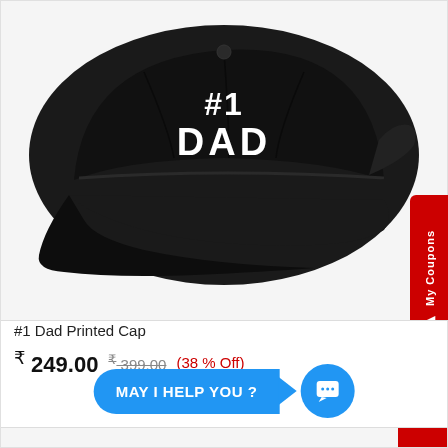[Figure (photo): Black baseball cap with '#1 DAD' printed in white bold text on the front panel, photographed on a white background.]
#1 Dad Printed Cap
₹ 249.00  ₹ 399.00  (38 % Off)
MAY I HELP YOU ?